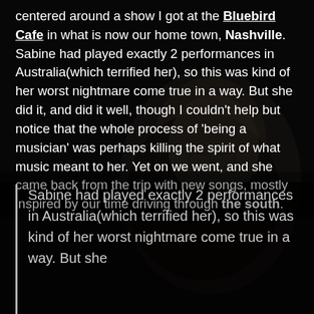[Figure (photo): Black and white portrait photo of a woman with long hair and glasses, serving as the background of the page]
centered around a show I got at the Bluebird Cafe in what is now our home town, Nashville. Sabine had played exactly 2 performances in Australia(which terrified her), so this was kind of her worst nightmare come true in a way. But she did it, and did it well, though I couldn't help but notice that the whole process of 'being a musician' was perhaps killing the spirit of what music meant to her. Yet on we went, and she came back from the trip with new songs, mostly inspired by our time driving through the south.
Sabine had played exactly 2 performances in Australia(which terrified her), so this was kind of her worst nightmare come true in a way. But she